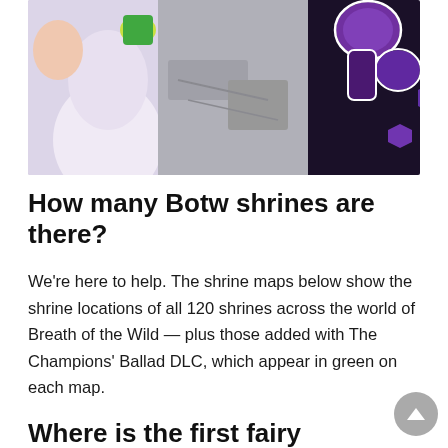[Figure (illustration): Cropped screenshot from The Legend of Zelda: Breath of the Wild showing a character in a white outfit on the left and purple mushroom-like creatures on the right against a grey rocky background.]
How many Botw shrines are there?
We're here to help. The shrine maps below show the shrine locations of all 120 shrines across the world of Breath of the Wild — plus those added with The Champions' Ballad DLC, which appear in green on each map.
Where is the first fairy fountain?
Great Fairy Fountains The first fountain is found near Kakariko Village and the Ta'Loh Naeg shrine. Just